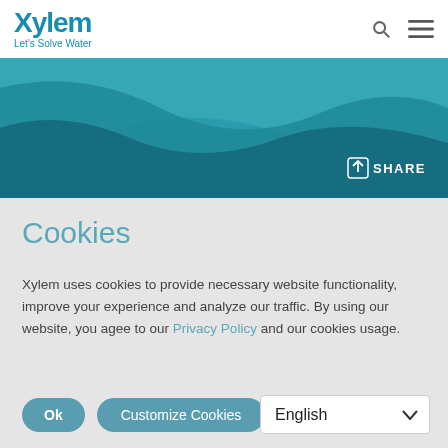Xylem Let's Solve Water
[Figure (screenshot): Xylem website header with teal wave background and SHARE button]
Cookies
Xylem uses cookies to provide necessary website functionality, improve your experience and analyze our traffic. By using our website, you agee to our Privacy Policy and our cookies usage.
Ok | Customize Cookies
Why am I seeing this?
English